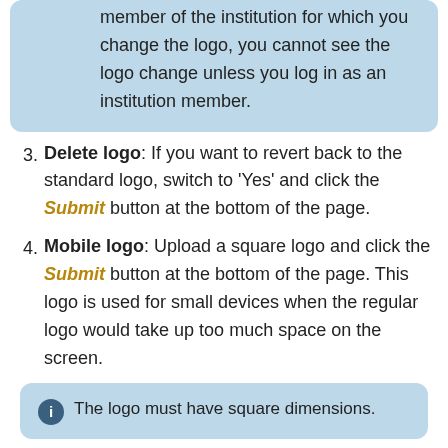member of the institution for which you change the logo, you cannot see the logo change unless you log in as an institution member.
Delete logo: If you want to revert back to the standard logo, switch to ‘Yes’ and click the Submit button at the bottom of the page.
Mobile logo: Upload a square logo and click the Submit button at the bottom of the page. This logo is used for small devices when the regular logo would take up too much space on the screen.
The logo must have square dimensions.
5. Once you have submitted your changes, the logo will